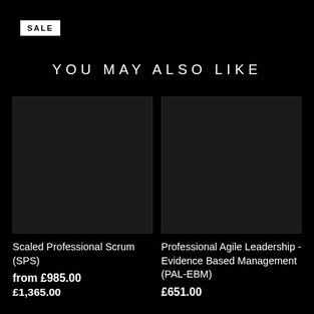SALE
YOU MAY ALSO LIKE
[Figure (photo): Dark product image placeholder for Scaled Professional Scrum (SPS) course]
Scaled Professional Scrum (SPS)
from £985.00
£1,365.00
[Figure (photo): Dark product image placeholder for Professional Agile Leadership - Evidence Based Management (PAL-EBM) course]
Professional Agile Leadership - Evidence Based Management (PAL-EBM)
£651.00